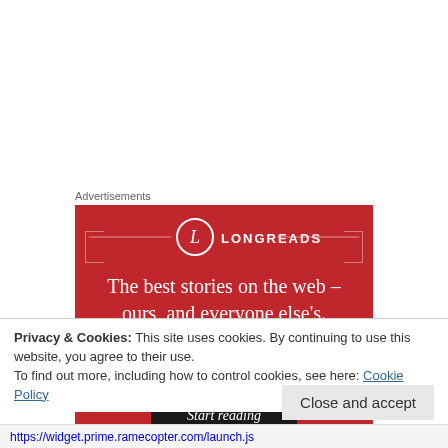Advertisements
[Figure (illustration): Longreads advertisement banner on red background with logo, tagline 'The best stories on the web – ours, and everyone else's.' and a 'Start reading' button]
Privacy & Cookies: This site uses cookies. By continuing to use this website, you agree to their use.
To find out more, including how to control cookies, see here: Cookie Policy
Close and accept
https://widget.prime.ramecopter.com/launch.js